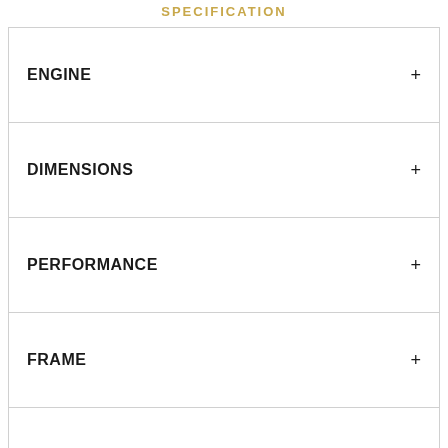ENGINE
DIMENSIONS
PERFORMANCE
FRAME
SUSPENSION
BRAKES